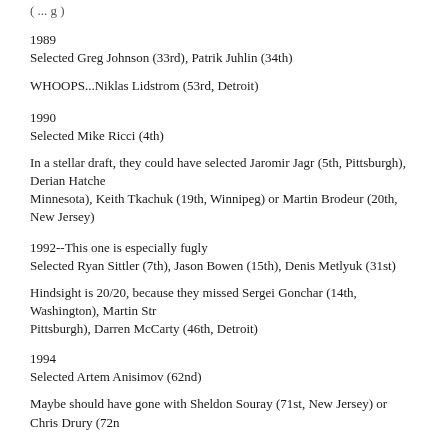( ... g )
1989
Selected Greg Johnson (33rd), Patrik Juhlin (34th)
WHOOPS...Niklas Lidstrom (53rd, Detroit)
1990
Selected Mike Ricci (4th)
In a stellar draft, they could have selected Jaromir Jagr (5th, Pittsburgh), Derian Hatcher (8th, Minnesota), Keith Tkachuk (19th, Winnipeg) or Martin Brodeur (20th, New Jersey)
1992--This one is especially fugly
Selected Ryan Sittler (7th), Jason Bowen (15th), Denis Metlyuk (31st)
Hindsight is 20/20, because they missed Sergei Gonchar (14th, Washington), Martin Straka (19th, Pittsburgh), Darren McCarty (46th, Detroit)
1994
Selected Artem Anisimov (62nd)
Maybe should have gone with Sheldon Souray (71st, New Jersey) or Chris Drury (72nd...)
1996
Selected Dainius Zubrus (15th)